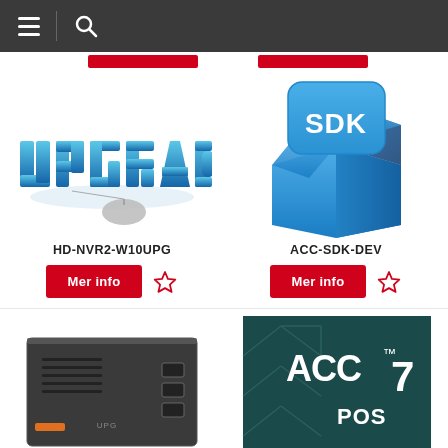[Figure (screenshot): Navigation top bar with hamburger menu and search icon on dark gray background]
[Figure (illustration): UPGRADE text in 3D blue letters with a computer mouse below it]
HD-NVR2-W10UPG
Mer info
[Figure (illustration): Open cardboard box with SDK label on a floating blue rounded square]
ACC-SDK-DEV
Mer info
[Figure (photo): Partial view of a dark gray hardware device (bottom left)]
[Figure (illustration): ACC 7 POS logo on dark teal background (bottom right, partial)]